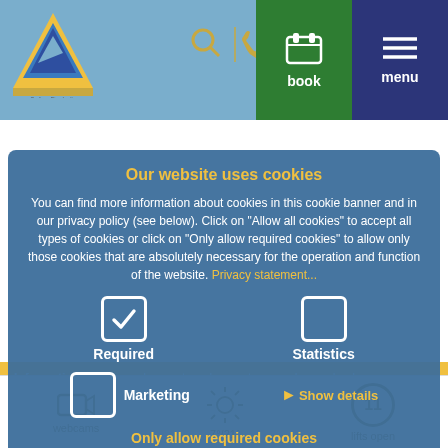[Figure (screenshot): Website navigation bar with logo 'Serfaus Fiss Ladis', search icon, phone icon, person icon, green 'book' button, and dark blue 'menu' button]
right one just yet? How about a bit of holiday joy for your loved ones? Sounds enticing? Well, this! And it's quick and easy: Sit down on your couch at home, open your laptop and buy some gift vouchers for the ne... slopes.
Our website uses cookies
You can find more information about cookies in this cookie banner and in our privacy policy (see below). Click on "Allow all cookies" to accept all types of cookies or click on "Only allow required cookies" to allow only those cookies that are absolutely necessary for the operation and function of the website. Privacy statement...
Required
Statistics
Marketing
Show details
Only allow required cookies
Allow all cookies
Information: If our voucher system does not open, please check your
webcams
7°/21°
11 lifts open